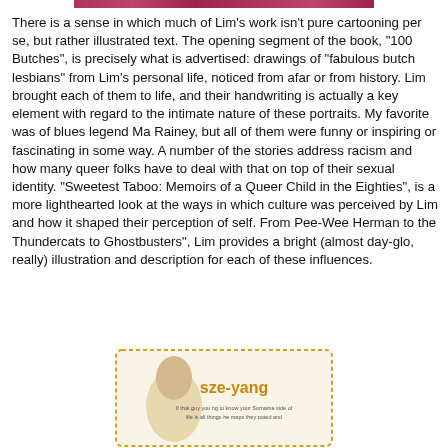[Figure (photo): A cropped image strip at the top of the page, showing a colorful/patterned strip in dark red/pink tones.]
There is a sense in which much of Lim's work isn't pure cartooning per se, but rather illustrated text. The opening segment of the book, "100 Butches", is precisely what is advertised: drawings of "fabulous butch lesbians" from Lim's personal life, noticed from afar or from history. Lim brought each of them to life, and their handwriting is actually a key element with regard to the intimate nature of these portraits. My favorite was of blues legend Ma Rainey, but all of them were funny or inspiring or fascinating in some way. A number of the stories address racism and how many queer folks have to deal with that on top of their sexual identity. "Sweetest Taboo: Memoirs of a Queer Child in the Eighties", is a more lighthearted look at the ways in which culture was perceived by Lim and how it shaped their perception of self. From Pee-Wee Herman to the Thundercats to Ghostbusters", Lim provides a bright (almost day-glo, really) illustration and description for each of these influences.
[Figure (illustration): A partial illustration at the bottom of the page showing a comic/cartoon style image with a figure and text reading 'sze-yang' in yellow/brown decorative lettering with smaller descriptive text below.]